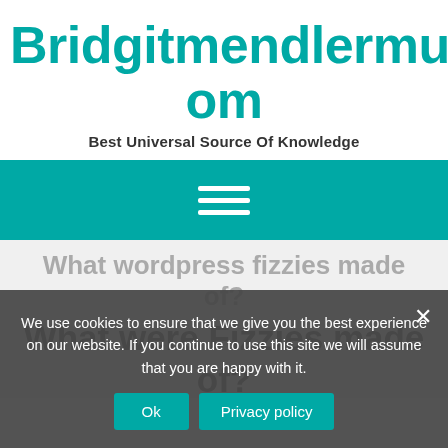Bridgitmendlermusic.Com
Best Universal Source Of Knowledge
[Figure (other): Teal navigation bar with hamburger menu icon (three horizontal white lines)]
What wordpress fizzies made of?
What were Fizzies made of?
We use cookies to ensure that we give you the best experience on our website. If you continue to use this site we will assume that you are happy with it.
Ok
Privacy policy